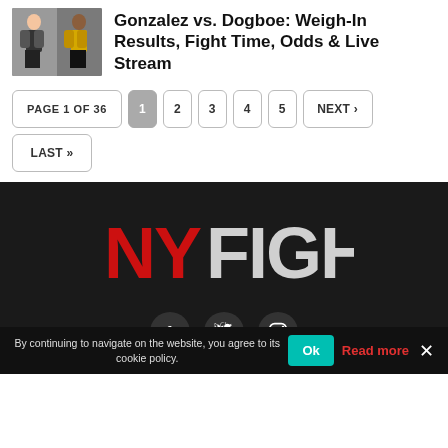[Figure (photo): Two boxers posing at weigh-in, thumbnail image]
Gonzalez vs. Dogboe: Weigh-In Results, Fight Time, Odds & Live Stream
PAGE 1 OF 36  1  2  3  4  5  NEXT ›  LAST »
[Figure (logo): NYFIGHTS logo in red and white on dark background with social media icons (Facebook, Twitter, Instagram)]
By continuing to navigate on the website, you agree to its cookie policy.
Ok
Read more